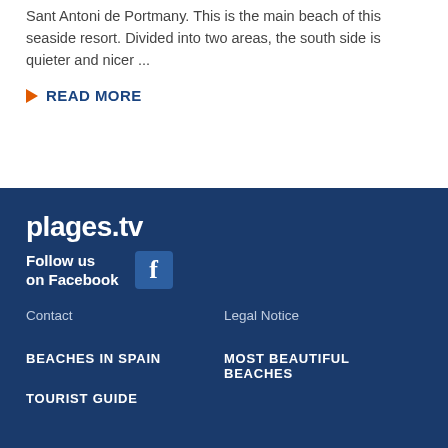Sant Antoni de Portmany. This is the main beach of this seaside resort. Divided into two areas, the south side is quieter and nicer ...
READ MORE
plages.tv
Follow us on Facebook
Contact
Legal Notice
BEACHES IN SPAIN
MOST BEAUTIFUL BEACHES
TOURIST GUIDE